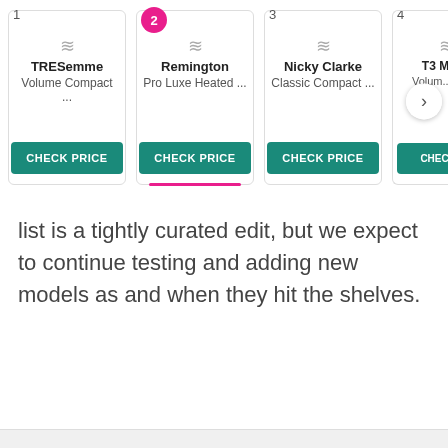[Figure (screenshot): A product carousel showing 4 hair dryer cards: 1) TRESemme Volume Compact..., 2) Remington Pro Luxe Heated... (highlighted with pink underline and pink numbered badge), 3) Nicky Clarke Classic Compact..., 4) T3 Micro Volum...g Ho... (partially visible). Each card has a teal CHECK PRICE button. A navigation arrow appears on the right.]
list is a tightly curated edit, but we expect to continue testing and adding new models as and when they hit the shelves.